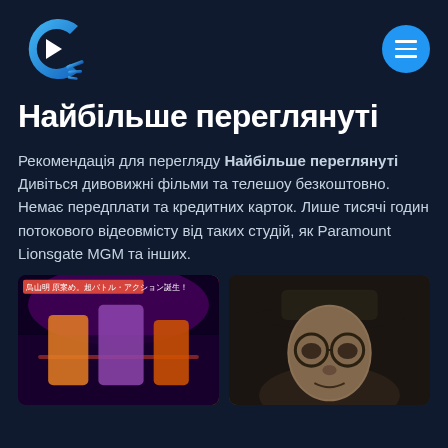[Figure (logo): Crackle streaming service logo — stylized letter C with play button triangle and radiating lines, in blue gradient]
Найбільше переглянуті
Рекомендація для перегляду Найбільше переглянуті Дивіться дивовижні фільми та телешоу безкоштовно. Немає передплати та кредитних карток. Лише тисячі годин потокового відеовмісту від таких студій, як Paramount Lionsgate MGM та інших.
[Figure (screenshot): Anime battle action movie poster with Japanese text and colorful characters]
[Figure (photo): Close-up portrait of creepy old man wearing a wide-brim hat and round glasses]